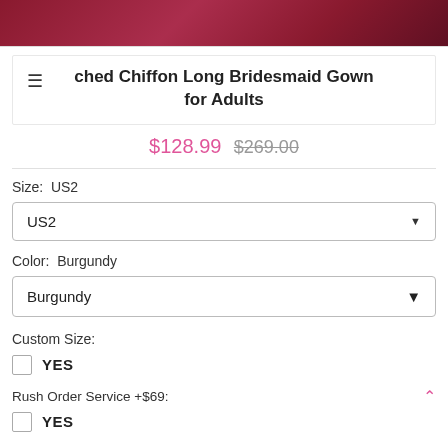[Figure (photo): Partial photo of a burgundy/dark red bridesmaid gown at the top of the page]
Ruched Chiffon Long Bridesmaid Gown for Adults
$128.99  $269.00
Size:  US2
US2 (dropdown)
Color:  Burgundy
Burgundy (dropdown)
Custom Size:
YES
Rush Order Service +$69:
YES